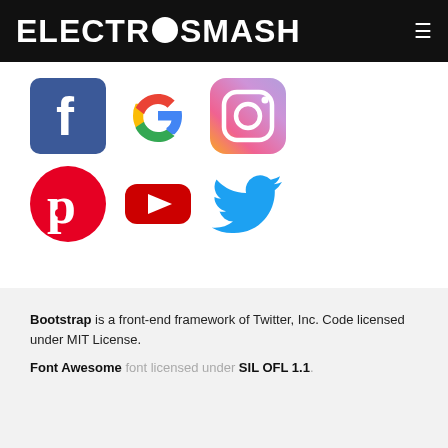ELECTROSMASH
[Figure (logo): Social media icons: Facebook, Google, Instagram (top row); Pinterest, YouTube, Twitter (bottom row)]
Bootstrap is a front-end framework of Twitter, Inc. Code licensed under MIT License.
Font Awesome font licensed under SIL OFL 1.1.